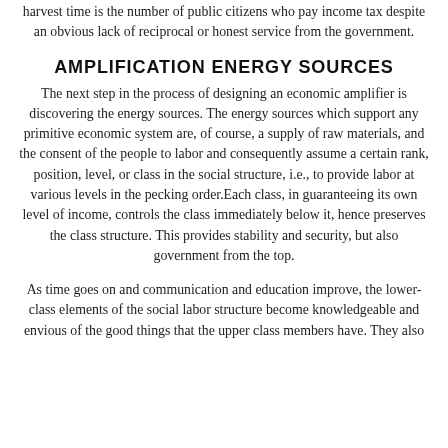harvest time is the number of public citizens who pay income tax despite an obvious lack of reciprocal or honest service from the government.
AMPLIFICATION ENERGY SOURCES
The next step in the process of designing an economic amplifier is discovering the energy sources. The energy sources which support any primitive economic system are, of course, a supply of raw materials, and the consent of the people to labor and consequently assume a certain rank, position, level, or class in the social structure, i.e., to provide labor at various levels in the pecking order.Each class, in guaranteeing its own level of income, controls the class immediately below it, hence preserves the class structure. This provides stability and security, but also government from the top.
As time goes on and communication and education improve, the lower-class elements of the social labor structure become knowledgeable and envious of the good things that the upper class members have. They also